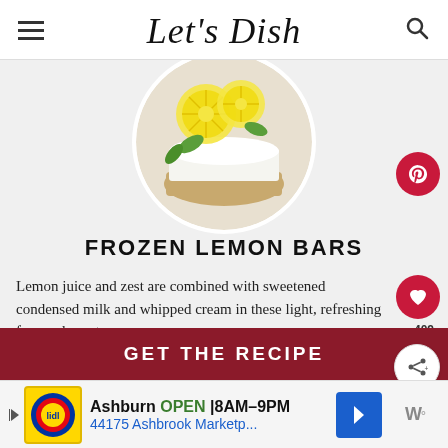Let's Dish
[Figure (photo): Circular hero image of frozen lemon bars with lemon slices and mint leaves on top]
FROZEN LEMON BARS
Lemon juice and zest are combined with sweetened condensed milk and whipped cream in these light, refreshing frozen dessert
GET THE RECIPE
Ashburn OPEN 8AM–9PM 44175 Ashbrook Marketp...